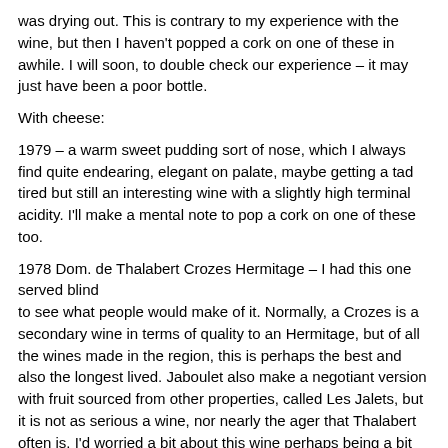was drying out. This is contrary to my experience with the wine, but then I haven't popped a cork on one of these in awhile. I will soon, to double check our experience – it may just have been a poor bottle.
With cheese:
1979 – a warm sweet pudding sort of nose, which I always find quite endearing, elegant on palate, maybe getting a tad tired but still an interesting wine with a slightly high terminal acidity. I'll make a mental note to pop a cork on one of these too.
1978 Dom. de Thalabert Crozes Hermitage – I had this one served blind to see what people would make of it. Normally, a Crozes is a secondary wine in terms of quality to an Hermitage, but of all the wines made in the region, this is perhaps the best and also the longest lived. Jaboulet also make a negotiant version with fruit sourced from other properties, called Les Jalets, but it is not as serious a wine, nor nearly the ager that Thalabert often is. I'd worried a bit about this wine perhaps being a bit long in the tooth, but it turned out well – a reasonably fresh nose with a little cedar, good colour, supple in the mouth with good length, fairly sweet but with lots of acidity at the end. Obviously, if you happen to own this wine, don't tarry about drinking it, but you still have a reasonable expectation of a very presentable wine when you do enjoy it.
I feel obliged to append a short note on a couple of wines that a friend, also dining at the restaurant, had enjoyed that night, passing our table a glass of each as he departed.